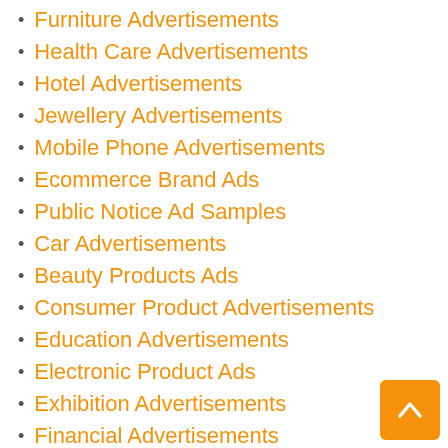Furniture Advertisements
Health Care Advertisements
Hotel Advertisements
Jewellery Advertisements
Mobile Phone Advertisements
Ecommerce Brand Ads
Public Notice Ad Samples
Car Advertisements
Beauty Products Ads
Consumer Product Advertisements
Education Advertisements
Electronic Product Ads
Exhibition Advertisements
Financial Advertisements